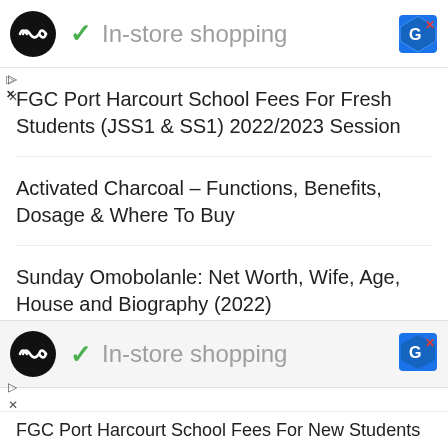[Figure (screenshot): Ad bar with infinity loop logo, green checkmark, In-store shopping text, Google icon with X close button]
FGC Port Harcourt School Fees For Fresh Students (JSS1 & SS1) 2022/2023 Session
Activated Charcoal – Functions, Benefits, Dosage & Where To Buy
Sunday Omobolanle: Net Worth, Wife, Age, House and Biography (2022)
Emeka Ossai: Wife, Age, Biography, Books &
[Figure (screenshot): Second ad bar with infinity loop logo, green checkmark, In-store shopping text, Google icon with X close button]
FGC Port Harcourt School Fees For New Students